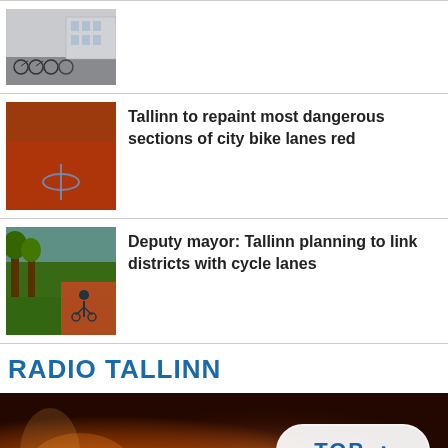[Figure (photo): Cyclists on a city street with European buildings in background (bikes parked/riding)]
[Figure (photo): Red painted bike lane on a road surface]
Tallinn to repaint most dangerous sections of city bike lanes red
[Figure (photo): Red cycle path alongside a tree-lined street with a cyclist]
Deputy mayor: Tallinn planning to link districts with cycle lanes
RADIO TALLINN
[Figure (photo): Radio Tallinn banner image with warm orange/amber tones showing artistic figure, with a TOP button overlay]